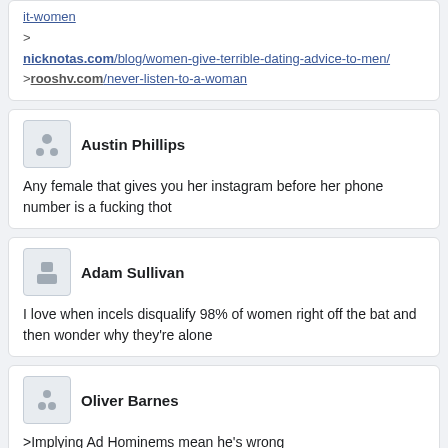it-women
>
nicknotas.com/blog/women-give-terrible-dating-advice-to-men/
>rooshv.com/never-listen-to-a-woman
Austin Phillips
Any female that gives you her instagram before her phone number is a fucking thot
Adam Sullivan
I love when incels disqualify 98% of women right off the bat and then wonder why they're alone
Oliver Barnes
>Implying Ad Hominems mean he's wrong